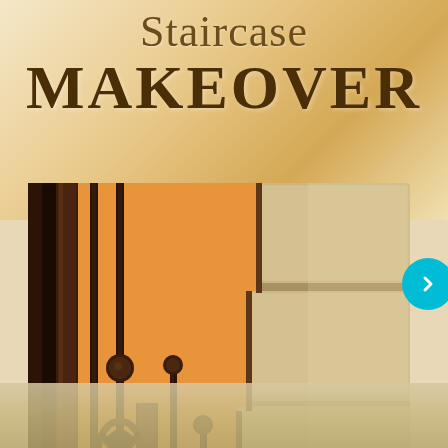Staircase MAKEOVER
[Figure (photo): Close-up photo of staircase makeover showing dark brown wrought iron balusters with decorative basket twist detail, dark wood newel posts, and carpeted stair treads with beige/tan carpet on the right side, orange-peach painted wall visible in background.]